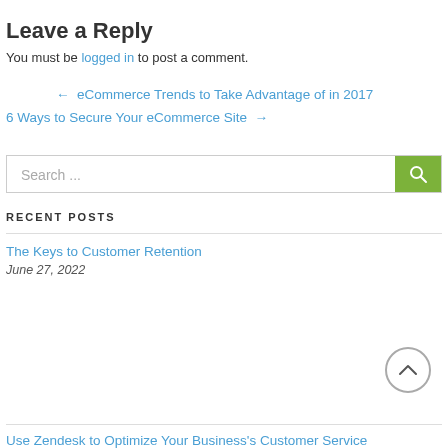Leave a Reply
You must be logged in to post a comment.
← eCommerce Trends to Take Advantage of in 2017
6 Ways to Secure Your eCommerce Site →
Search...
RECENT POSTS
The Keys to Customer Retention
June 27, 2022
Use Zendesk to Optimize Your Business's Customer Service